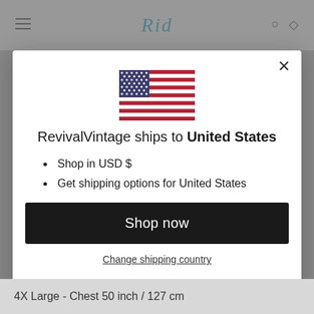[Figure (screenshot): Website header with teal script logo and hamburger/icon navigation]
[Figure (illustration): United States flag SVG illustration]
RevivalVintage ships to United States
Shop in USD $
Get shipping options for United States
Shop now
Change shipping country
4X Large - Chest 50 inch / 127 cm